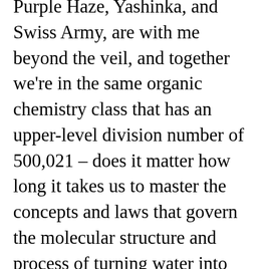Purple Haze, Yashinka, and Swiss Army, are with me beyond the veil, and together we're in the same organic chemistry class that has an upper-level division number of 500,021 – does it matter how long it takes us to master the concepts and laws that govern the molecular structure and process of turning water into wine?  Would five hundred thousand years or 1.5 million years be sufficient for this class project?  After all, the time and capable instructors are available to us and the laws governing the transformation of changing the molecular structure of water to wine is only a mystery